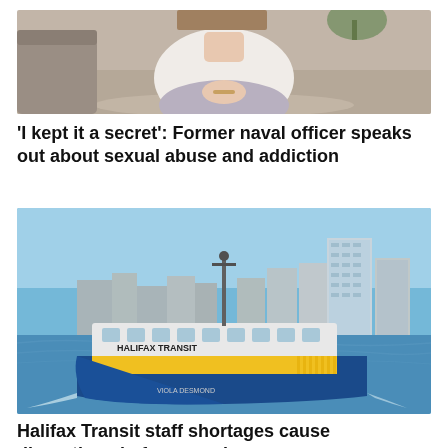[Figure (photo): A person sitting indoors with hands clasped, partially cropped, wearing a white sweater, with a couch and rug visible in the background.]
'I kept it a secret': Former naval officer speaks out about sexual abuse and addiction
[Figure (photo): A Halifax Transit ferry named 'Viola Desmond' on the water with the Halifax city skyline in the background under a blue sky.]
Halifax Transit staff shortages cause disruptions in ferry service